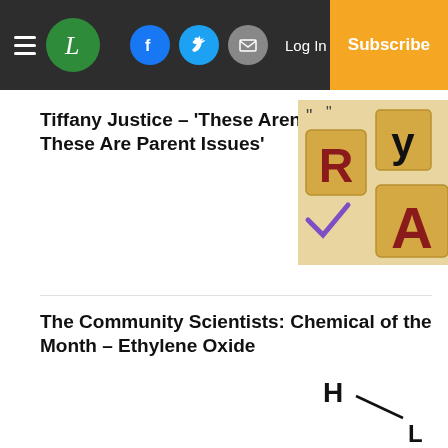Navigation bar with hamburger menu, L logo, Facebook, Twitter, Email social buttons, Log In link, Subscribe button
Tiffany Justice – 'These Aren't Partisan Issues; These Are Parent Issues'
[Figure (photo): Scrabble letter tiles showing letters R, Y, A and others in wooden blocks]
The Community Scientists: Chemical of the Month – Ethylene Oxide
[Figure (schematic): Chemical structure diagram showing H– partial bond structure for Ethylene Oxide]